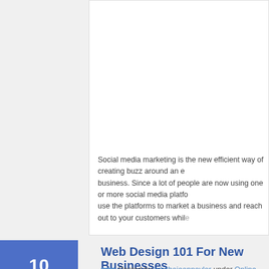Social media marketing is the new efficient way of creating buzz around an existing business. Since a lot of people are now using one or more social media platforms, you can use the platforms to market a business and reach out to your customers while...
Web Design 101 For New Businesses
Posted by tabithajeannaylor under Online Marketing